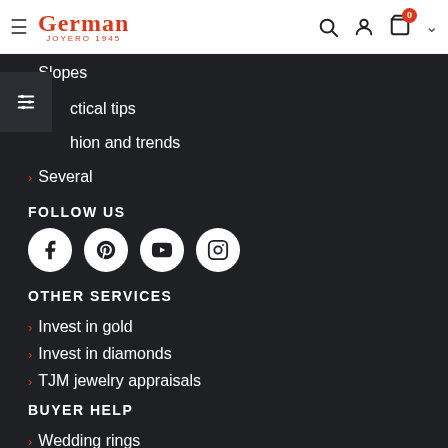German Joyero 1945 – navigation bar with logo, search, account, cart (0), chevron
Slopes
ctical tips
hion and trends
Several
FOLLOW US
[Figure (infographic): Row of four social media icon buttons: Facebook, Pinterest, YouTube, Instagram — white circles on dark background]
OTHER SERVICES
Invest in gold
Invest in diamonds
TJM jewelry appraisals
BUYER HELP
Wedding rings